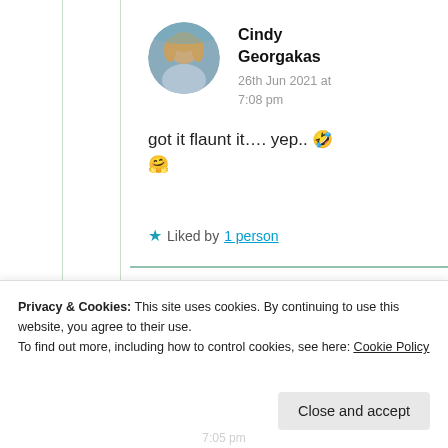Cindy Georgakas
26th Jun 2021 at 7:08 pm
got it flaunt it…. yep.. 🤣 🤗
★ Liked by 1 person
Privacy & Cookies: This site uses cookies. By continuing to use this website, you agree to their use.
To find out more, including how to control cookies, see here: Cookie Policy
Close and accept
7:05 pm